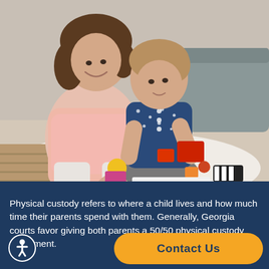[Figure (photo): A woman and a young child sitting on a white rug on the floor, playing together with colorful wooden toy blocks. The woman is wearing a pink top and white pants, and the child is wearing a dark blue star-patterned shirt and grey pants. A grey couch is visible in the background.]
Physical custody refers to where a child lives and how much time their parents spend with them. Generally, Georgia courts favor giving both parents a 50/50 physical custody agreement.
[Figure (other): Accessibility icon: a white wheelchair/person symbol inside a dark blue circle with white border]
[Figure (other): Contact Us button: orange rounded rectangle with dark blue bold text reading 'Contact Us']